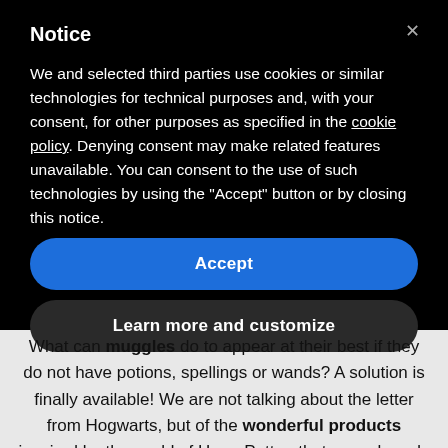Notice
We and selected third parties use cookies or similar technologies for technical purposes and, with your consent, for other purposes as specified in the cookie policy. Denying consent may make related features unavailable. You can consent to the use of such technologies by using the "Accept" button or by closing this notice.
Accept
Learn more and customize
What can muggles do to appear at their best if they do not have potions, spellings or wands? A solution is finally available! We are not talking about the letter from Hogwarts, but of the wonderful products inspired by the world of Harry Potter, that some brands have put on sale, for the joy of the